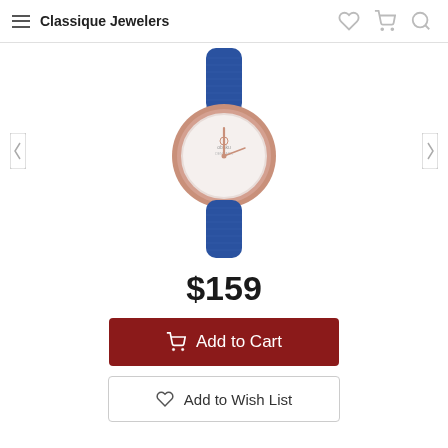Classique Jewelers
[Figure (photo): A women's watch with a rose gold circular case, white dial, rose gold hands, and a blue textured leather strap. The watch face shows the Obaku brand name.]
$159
Add to Cart
Add to Wish List